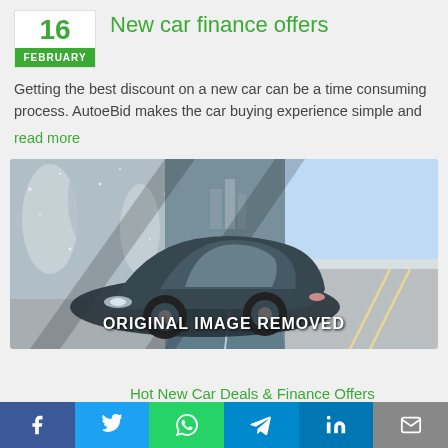New car finance offers
16
FEBRUARY
Getting the best discount on a new car can be a time consuming process. AutoeBid makes the car buying experience simple and
read more
[Figure (photo): Composite photo showing a luxury car (Mercedes-Benz coupe) driving across three scenes: snowy winter forest, open road with city skyline, and sunny highway. Text overlay reads ORIGINAL IMAGE REMOVED.]
Hot New Car Deals & Finance Offers
f  Twitter  WhatsApp  Telegram  in  Email